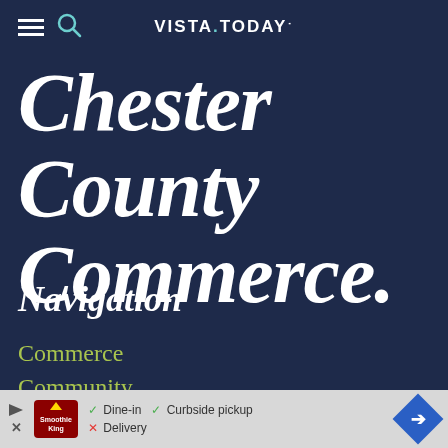VISTA.TODAY
Chester County Commerce.
Navigation
Commerce
Community
Culture
Care
[Figure (infographic): Advertisement banner with Smoothie King logo, dine-in/curbside pickup/delivery info, and navigation arrow icon]